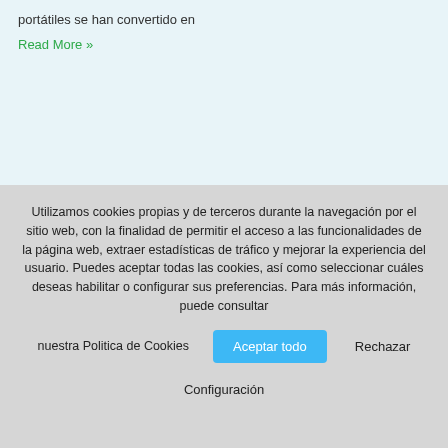portátiles se han convertido en
Read More »
Utilizamos cookies propias y de terceros durante la navegación por el sitio web, con la finalidad de permitir el acceso a las funcionalidades de la página web, extraer estadísticas de tráfico y mejorar la experiencia del usuario. Puedes aceptar todas las cookies, así como seleccionar cuáles deseas habilitar o configurar sus preferencias. Para más información, puede consultar nuestra Politica de Cookies
Aceptar todo
Rechazar
Configuración